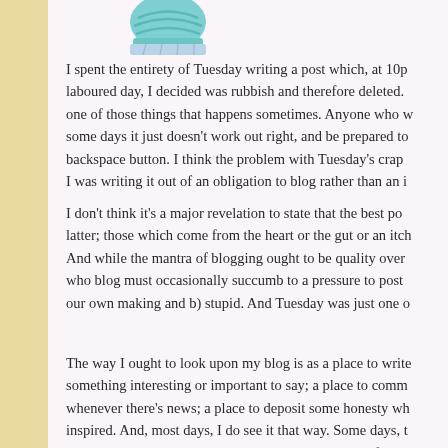[Figure (illustration): Partial illustration of a cupcake at the top of the page]
I spent the entirety of Tuesday writing a post which, at 10p laboured day, I decided was rubbish and therefore deleted. one of those things that happens sometimes. Anyone who w some days it just doesn't work out right, and be prepared to backspace button. I think the problem with Tuesday's crap I was writing it out of an obligation to blog rather than an i
I don't think it's a major revelation to state that the best po latter; those which come from the heart or the gut or an itc And while the mantra of blogging ought to be quality over who blog must occasionally succumb to a pressure to post our own making and b) stupid. And Tuesday was just one o
The way I ought to look upon my blog is as a place to writ something interesting or important to say; a place to comm whenever there's news; a place to deposit some honesty wh inspired. And, most days, I do see it that way. Some days, t wrong and, rather than looking upon my blog as all of the a